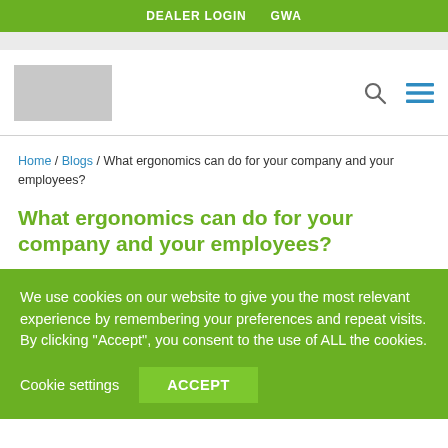DEALER LOGIN   GWA
[Figure (logo): Company logo placeholder (grey rectangle)]
Home / Blogs / What ergonomics can do for your company and your employees?
What ergonomics can do for your company and your employees?
We use cookies on our website to give you the most relevant experience by remembering your preferences and repeat visits. By clicking “Accept”, you consent to the use of ALL the cookies.
Cookie settings   ACCEPT